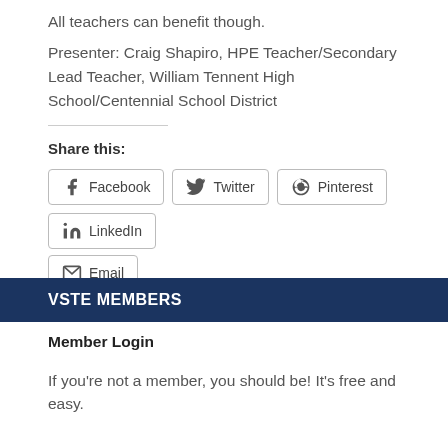All teachers can benefit though.
Presenter: Craig Shapiro, HPE Teacher/Secondary Lead Teacher, William Tennent High School/Centennial School District
Share this:
Facebook  Twitter  Pinterest  LinkedIn  Email
VSTE MEMBERS
Member Login
If you're not a member, you should be! It's free and easy.